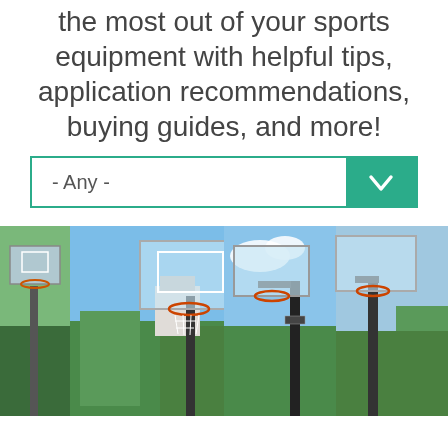the most out of your sports equipment with helpful tips, application recommendations, buying guides, and more!
[Figure (screenshot): A dropdown/select widget with teal border showing '- Any -' label and a teal chevron-down button on the right.]
[Figure (photo): Two side-by-side photos of outdoor basketball hoops with clear backboards on poles against blue sky with trees.]